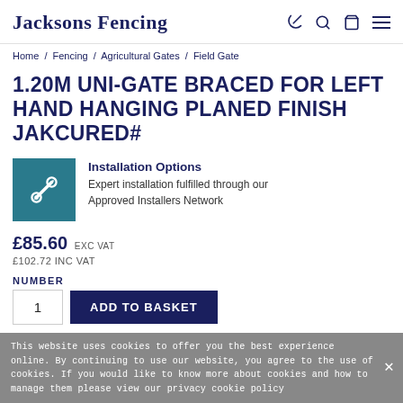Jacksons Fencing
Home / Fencing / Agricultural Gates / Field Gate
1.20M UNI-GATE BRACED FOR LEFT HAND HANGING PLANED FINISH JAKCURED#
[Figure (illustration): Teal square icon with wrench and screwdriver tools crossed]
Installation Options
Expert installation fulfilled through our Approved Installers Network
£85.60 EXC VAT
£102.72 INC VAT
NUMBER
1  ADD TO BASKET
This website uses cookies to offer you the best experience online. By continuing to use our website, you agree to the use of cookies. If you would like to know more about cookies and how to manage them please view our privacy cookie policy